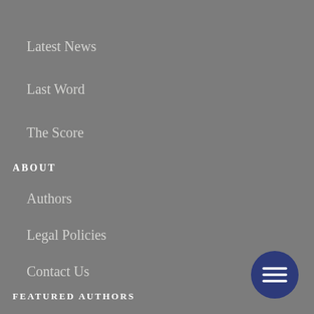Latest News
Last Word
The Score
ABOUT
Authors
Legal Policies
Contact Us
FEATURED AUTHORS
Lynn R. Mitchell
D.J. McGuire